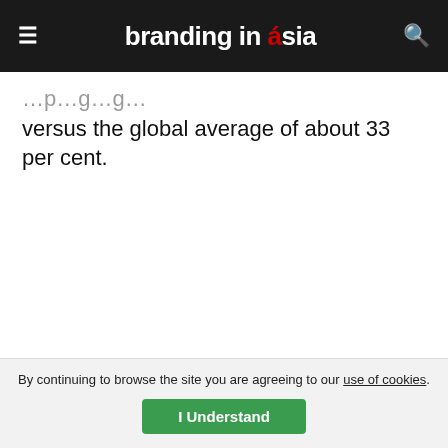branding in asia
versus the global average of about 33 per cent.
By continuing to browse the site you are agreeing to our use of cookies. I Understand